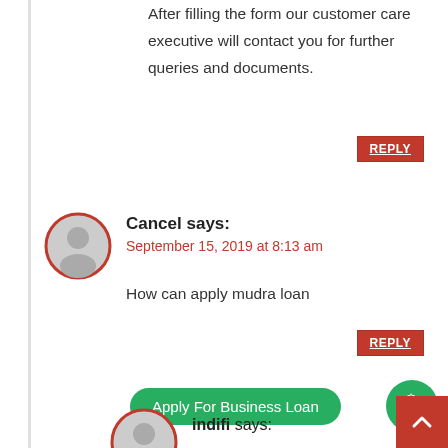After filling the form our customer care executive will contact you for further queries and documents.
REPLY
Cancel says:
September 15, 2019 at 8:13 am
How can apply mudra loan
REPLY
Apply For Business Loan
indifi says: